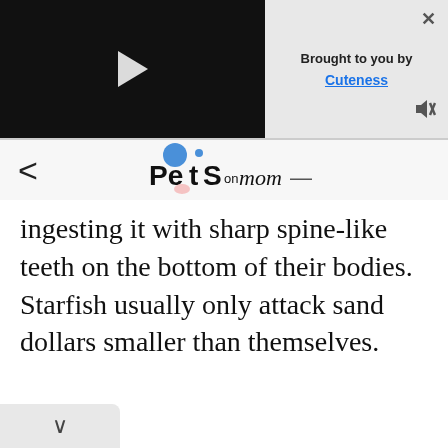[Figure (screenshot): Video player thumbnail with black background and white play button triangle]
Brought to you by Cuteness
[Figure (logo): PetsOnMom logo with blue circle and stylized pets text]
ingesting it with sharp spine-like teeth on the bottom of their bodies. Starfish usually only attack sand dollars smaller than themselves.